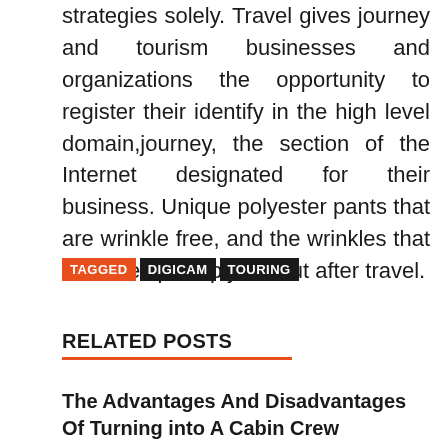strategies solely. Travel gives journey and tourism businesses and organizations the opportunity to register their identify in the high level domain,journey, the section of the Internet designated for their business. Unique polyester pants that are wrinkle free, and the wrinkles that do develop simply fall out after travel.
TAGGED DIGICAM TOURING
RELATED POSTS
The Advantages And Disadvantages Of Turning into A Cabin Crew